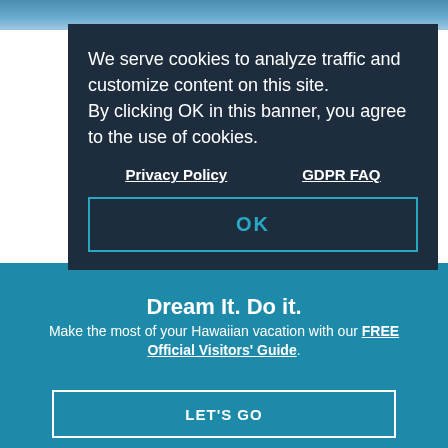[Figure (screenshot): Top portion of a travel website showing a cookie consent modal overlay on a page about Expeditions: Maui - Lanai Ferry, with a teal promotional banner at the bottom saying 'Dream It. Do it.' with a LET'S GO button]
We serve cookies to analyze traffic and customize content on this site. By clicking OK in this banner, you agree to the use of cookies.
Privacy Policy   GDPR FAQ
OK
Expeditions: Maui – Lanai Ferry
BACK TO TOP
655 FRONT ST STE 1C, LAHAINA, HI 96761
Dream It. Do it.
Make the most of your Hawaiian vacation with our FREE Official Visitors' Guide.
LET'S GO
Learn More